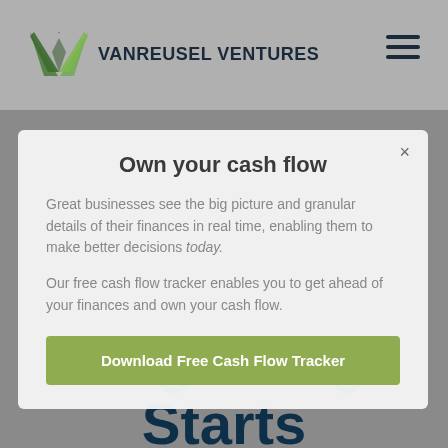VANREUSEL VENTURES
Own your cash flow
Great businesses see the big picture and granular details of their finances in real time, enabling them to make better decisions today.
Our free cash flow tracker enables you to get ahead of your finances and own your cash flow.
Download Free Cash Flow Tracker
Your New Beginning Starts Now.